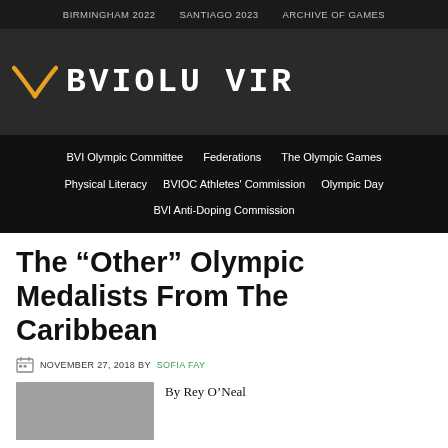BIRMINGHAM 2022   SANTIAGO 2023   ARCHIVE OF GAMES
[Figure (logo): BVI Olympic Committee logo with orange arc and white text partially visible]
BVI Olympic Committee   Federations   The Olympic Games   Physical Literacy   BVIOC Athletes' Commission   Olympic Day   BVI Anti-Doping Commission
The “Other” Olympic Medalists From The Caribbean
NOVEMBER 27, 2018 BY SOFIA FAY
By Rey O'Neal